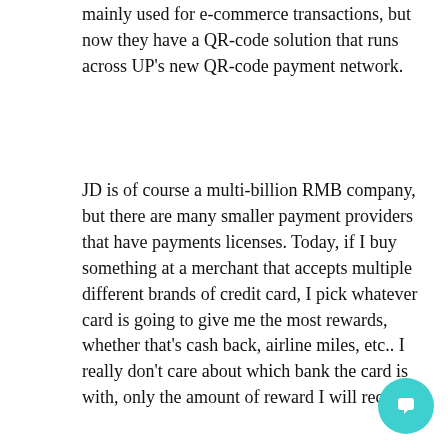mainly used for e-commerce transactions, but now they have a QR-code solution that runs across UP's new QR-code payment network.
JD is of course a multi-billion RMB company, but there are many smaller payment providers that have payments licenses. Today, if I buy something at a merchant that accepts multiple different brands of credit card, I pick whatever card is going to give me the most rewards, whether that's cash back, airline miles, etc.. I really don't care about which bank the card is with, only the amount of reward I will receive.
Similarly, if I can use any [payment provider] and the reward on all of them is fairly similar, I will use whoever provides the biggest benefit. But this is where I see unique value-propositions from some of the smaller market-share digital wallet providers.
China's consumers have shown themselves to be quite fickle when it comes to payment and technology brand
[Figure (screenshot): Chat popup overlay reading 'Thank you for visiting Kapronasia. Can I help with anything?' with a close (X) button in the top right and a teal chat bubble button in the bottom right.]